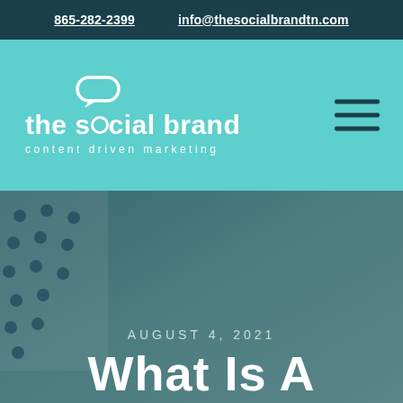865-282-2399   info@thesocialbrandtn.com
[Figure (logo): The Social Brand logo — speech bubble icon above text 'the social brand' with tagline 'content driven marketing', white on teal background, with hamburger menu icon on right]
[Figure (photo): Blurred desk/workspace photo with dark teal overlay, polka-dot pattern bag visible on left, clock and notebook on right]
AUGUST 4, 2021
What Is A